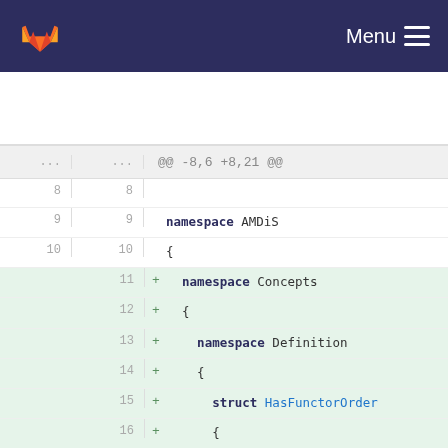GitLab — Menu
[Figure (screenshot): GitLab code diff view showing added lines in a C++ source file. Hunk header: @@ -8,6 +8,21 @@. Context lines 8-10 show 'namespace AMDiS' and opening brace. Added lines 11-22 add nested namespaces Concepts and Definition, a struct HasFunctorOrder with a template requiring decltype(order(f, int(I)...)), closing braces, and the start of another template.]